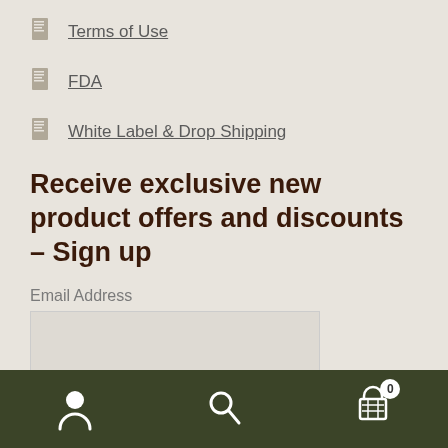Terms of Use
FDA
White Label & Drop Shipping
Receive exclusive new product offers and discounts – Sign up
Email Address
Navigation bar with user, search, and cart icons